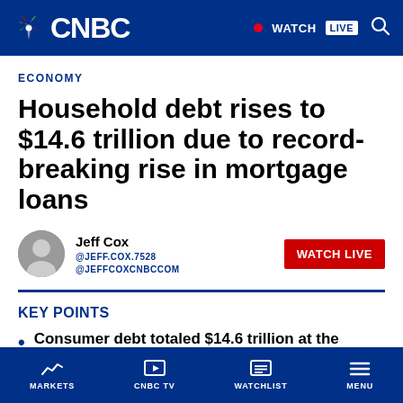CNBC — WATCH LIVE
ECONOMY
Household debt rises to $14.6 trillion due to record-breaking rise in mortgage loans
Jeff Cox @JEFF.COX.7528 @JEFFCOXCNBCCOM
KEY POINTS
Consumer debt totaled $14.6 trillion at the
MARKETS | CNBC TV | WATCHLIST | MENU